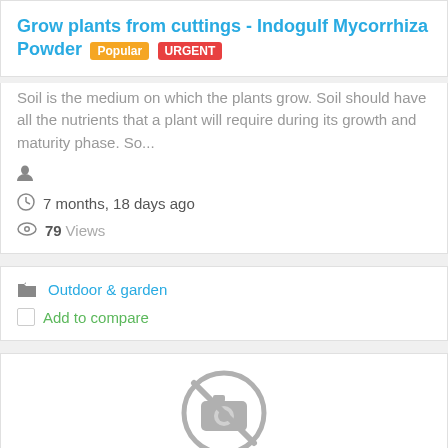Grow plants from cuttings - Indogulf Mycorrhiza Powder
Soil is the medium on which the plants grow. Soil should have all the nutrients that a plant will require during its growth and maturity phase. So...
7 months, 18 days ago
79 Views
Outdoor & garden
Add to compare
[Figure (illustration): No image placeholder icon - a camera with a prohibition sign]